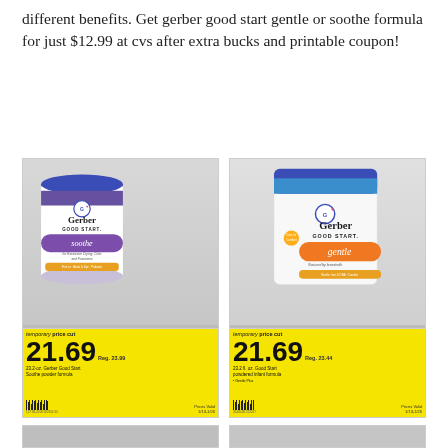different benefits. Get gerber good start gentle or soothe formula for just $12.99 at cvs after extra bucks and printable coupon!
[Figure (photo): Two Gerber Good Start formula containers on store shelf with yellow 'temporary price cut' price tags showing 21.69, left is Soothe variety and right is Gentle variety. Both show Reg. price 23.99/23.44.]
[Figure (photo): Partial view of additional Gerber Good Start formula containers on store shelf, bottom of page.]